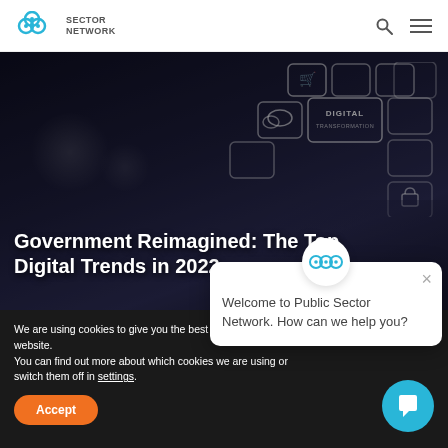SECTOR NETWORK
[Figure (screenshot): Hero banner image showing a hand touching digital transformation interface icons (shopping cart, cloud, lock, search, navigation icons) with dark background. Text overlay reads: Government Reimagined: The Top Digital Trends in 2022]
Government Reimagined: The Top Digital Trends in 2022
We are using cookies to give you the best experience on our website.
You can find out more about which cookies we are using or switch them off in settings.
Welcome to Public Sector Network. How can we help you?